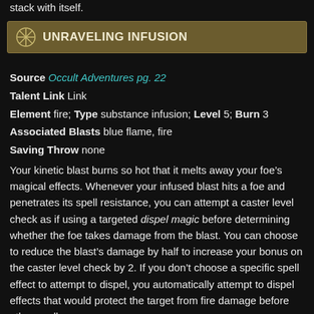stack with itself.
Unraveling Infusion
Source Occult Adventures pg. 22
Talent Link Link
Element fire; Type substance infusion; Level 5; Burn 3
Associated Blasts blue flame, fire
Saving Throw none
Your kinetic blast burns so hot that it melts away your foe’s magical effects. Whenever your infused blast hits a foe and penetrates its spell resistance, you can attempt a caster level check as if using a targeted dispel magic before determining whether the foe takes damage from the blast. You can choose to reduce the blast’s damage by half to increase your bonus on the caster level check by 2. If you don’t choose a specific spell effect to attempt to dispel, you automatically attempt to dispel effects that would protect the target from fire damage before other spells.